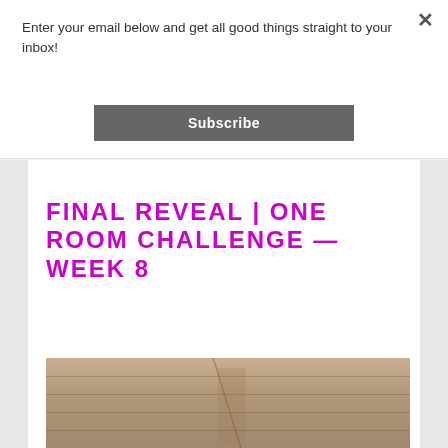Enter your email below and get all good things straight to your inbox!
Subscribe
FINAL REVEAL | ONE ROOM CHALLENGE — WEEK 8
[Figure (photo): Photo of a wood plank floor or surface with a person partially visible]